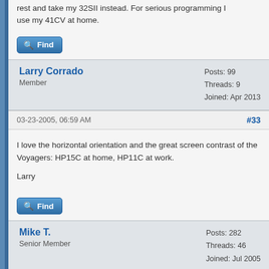rest and take my 32SII instead. For serious programming I use my 41CV at home.
Find
Larry Corrado
Member
Posts: 99
Threads: 9
Joined: Apr 2013
03-23-2005, 06:59 AM  #33
I love the horizontal orientation and the great screen contrast of the Voyagers: HP15C at home, HP11C at work.

Larry
Find
Mike T.
Senior Member
Posts: 282
Threads: 46
Joined: Jul 2005
03-23-2005, 08:43 AM  #34